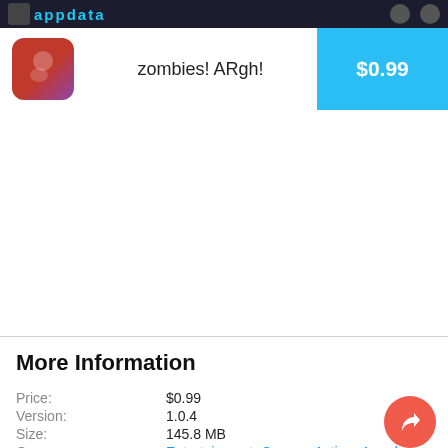appdata
zombies! ARgh!  $0.99
More Information
Price:  $0.99
Version:  1.0.4
Size:  145.8 MB
Genre:  Entertainment  Games  Action  Arcade